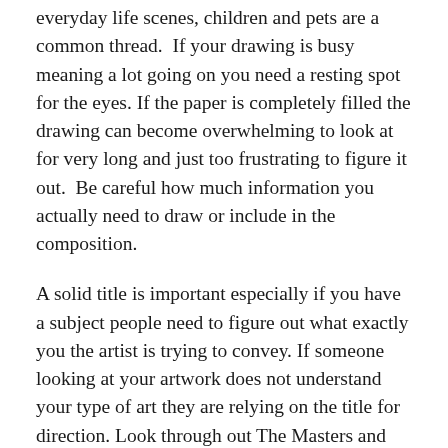everyday life scenes, children and pets are a common thread.  If your drawing is busy meaning a lot going on you need a resting spot for the eyes. If the paper is completely filled the drawing can become overwhelming to look at for very long and just too frustrating to figure it out.  Be careful how much information you actually need to draw or include in the composition.
A solid title is important especially if you have a subject people need to figure out what exactly you the artist is trying to convey. If someone looking at your artwork does not understand your type of art they are relying on the title for direction. Look through out The Masters and compositions they provide a way out of the drawing either through a window or door in the setting. For a more this century contemporary artist look at Andrew Wyeth and his